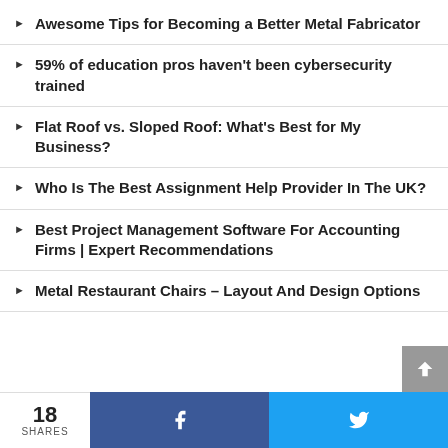Awesome Tips for Becoming a Better Metal Fabricator
59% of education pros haven't been cybersecurity trained
Flat Roof vs. Sloped Roof: What's Best for My Business?
Who Is The Best Assignment Help Provider In The UK?
Best Project Management Software For Accounting Firms | Expert Recommendations
Metal Restaurant Chairs – Layout And Design Options
18 SHARES  [Facebook share]  [Twitter share]